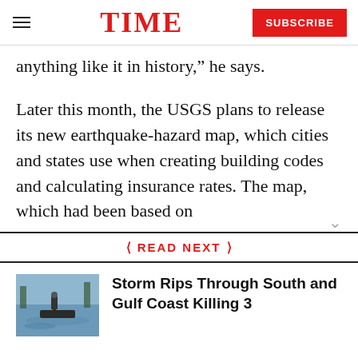TIME | SUBSCRIBE
anything like it in history,” he says.
Later this month, the USGS plans to release its new earthquake-hazard map, which cities and states use when creating building codes and calculating insurance rates. The map, which had been based on
READ NEXT
[Figure (photo): Flood scene with a person in a boat on flooded waters]
Storm Rips Through South and Gulf Coast Killing 3